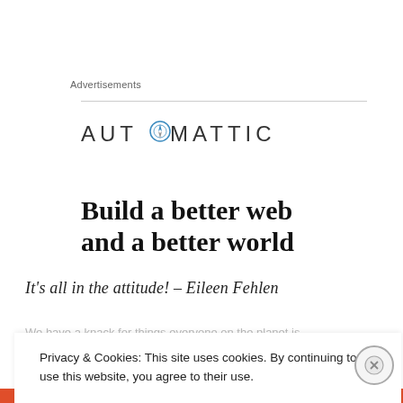Advertisements
[Figure (logo): Automattic logo with compass icon in the letter O]
Build a better web and a better world
It's all in the attitude! – Eileen Fehlen
Privacy & Cookies: This site uses cookies. By continuing to use this website, you agree to their use. To find out more, including how to control cookies, see here: Cookie Policy
Close and accept